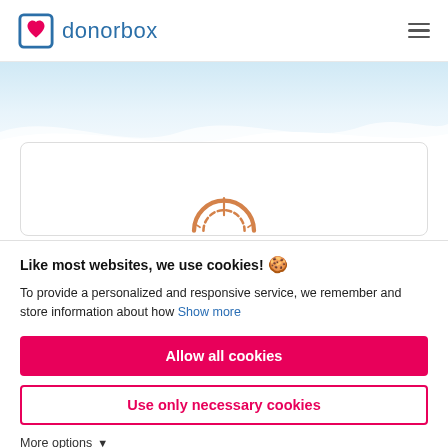donorbox
[Figure (screenshot): Donorbox website header with logo (blue bracket with red heart) and donorbox text, hamburger menu icon on right]
[Figure (illustration): Light blue wave banner background with a partially visible donation/chart icon in a white card below]
Like most websites, we use cookies! 🍪
To provide a personalized and responsive service, we remember and store information about how  Show more
Allow all cookies
Use only necessary cookies
More options ▾